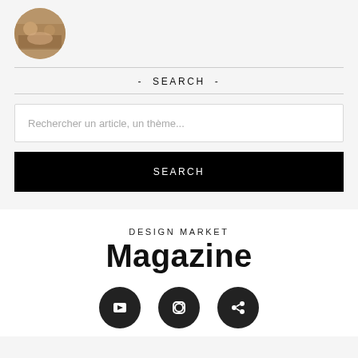[Figure (photo): Circular profile photo showing a market scene with food/people]
- SEARCH -
Rechercher un article, un thème...
SEARCH
DESIGN MARKET
Magazine
[Figure (illustration): Three black circular social media icons at bottom of page]